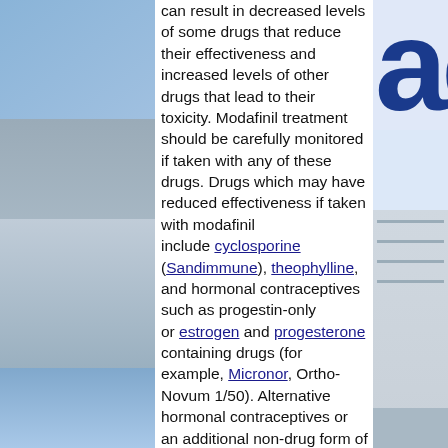[Figure (photo): Left side vertical strip showing pharmacy/blue background imagery]
can result in decreased levels of some drugs that reduce their effectiveness and increased levels of other drugs that lead to their toxicity. Modafinil treatment should be carefully monitored if taken with any of these drugs. Drugs which may have reduced effectiveness if taken with modafinil include cyclosporine (Sandimmune), theophylline, and hormonal contraceptives such as progestin-only or estrogen and progesterone containing drugs (for example, Micronor, Ortho-Novum 1/50). Alternative hormonal contraceptives or an additional non-drug form of contraception should be considered during treatment with modafinil, and treatment should continue for one month after modafinil therapy ends (since the effects of modafinil on contraceptive hormones may continue for several weeks). The effects of modafinil on hormonal contraceptives occur if the hormones are taken by mouth, patch, or implant.
[Figure (photo): Right side vertical strip showing pharmacy store with blue sign letters and pharmacist]